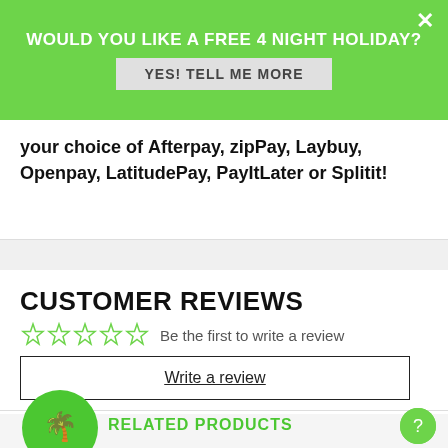WOULD YOU LIKE A FREE 4 NIGHT HOLIDAY?
YES! TELL ME MORE
your choice of Afterpay, zipPay, Laybuy, Openpay, LatitudePay, PayItLater or Splitit!
CUSTOMER REVIEWS
Be the first to write a review
Write a review
RELATED PRODUCTS